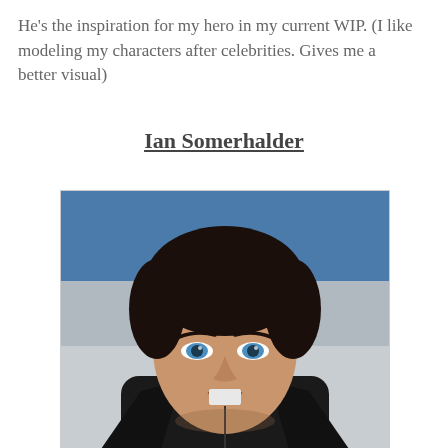He’s the inspiration for my hero in my current WIP. (I like modeling my characters after celebrities. Gives me a better visual)
Ian Somerhalder
[Figure (photo): Portrait photo of Ian Somerhalder, a man with dark tousled hair and blue eyes, wearing a black leather jacket, photographed against a blue and grey background.]